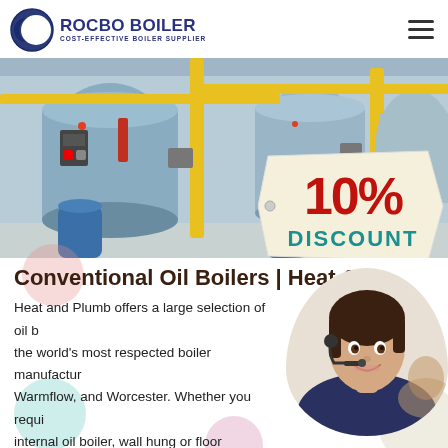[Figure (logo): Rocbo Boiler logo with crescent moon icon and text 'ROCBO BOILER - COST-EFFECTIVE BOILER SUPPLIER']
[Figure (photo): Industrial boiler room with large cylindrical blue boilers, yellow gas pipes, and control equipment in a row]
[Figure (infographic): 10% DISCOUNT promotional badge overlaid on the boiler photo]
Conventional Oil Boilers | Heat &
Heat and Plumb offers a large selection of oil b... the world's most respected boiler manufactur... Warmflow, and Worcester. Whether you requi... internal oil boiler, wall hung or floor standing, or c...
[Figure (photo): Female customer service agent wearing headset, smiling, with another agent visible in background]
Get Price